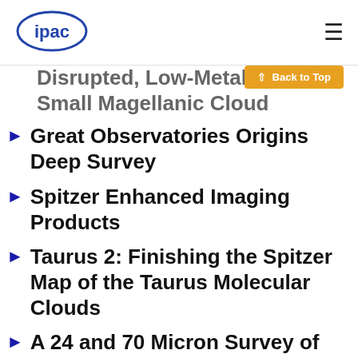ipac
Disrupted, Low-Metalicity Small Magellanic Cloud
Great Observatories Origins Deep Survey
Spitzer Enhanced Imaging Products
Taurus 2: Finishing the Spitzer Map of the Taurus Molecular Clouds
A 24 and 70 Micron Survey of the Inner Galactic Disk with